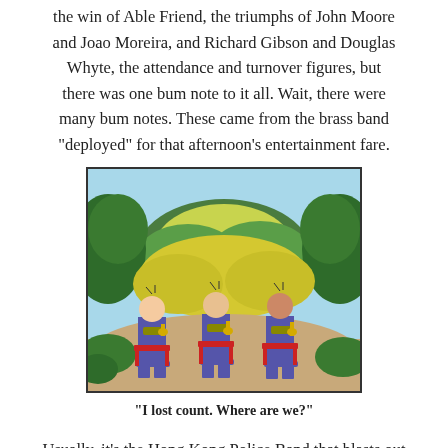the win of Able Friend, the triumphs of John Moore and Joao Moreira, and Richard Gibson and Douglas Whyte, the attendance and turnover figures, but there was one bum note to it all. Wait, there were many bum notes. These came from the brass band "deployed" for that afternoon's entertainment fare.
[Figure (illustration): A cartoon showing three musicians in blue uniforms sitting on red chairs outdoors in a garden-like setting with green and yellow foliage. They appear to be playing brass instruments and looking confused.]
"I lost count. Where are we?"
Usually, it's the Hong Kong Police Band that blasts out brassy renditions of national anthems of the winning